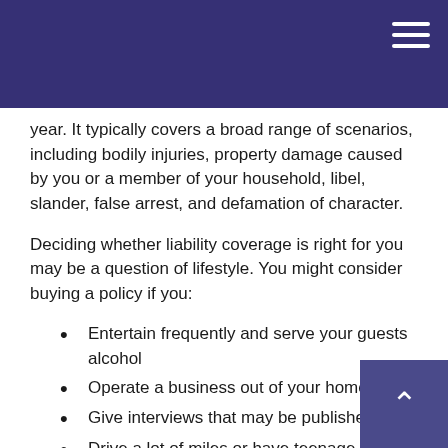year. It typically covers a broad range of scenarios, including bodily injuries, property damage caused by you or a member of your household, libel, slander, false arrest, and defamation of character.
Deciding whether liability coverage is right for you may be a question of lifestyle. You might consider buying a policy if you:
Entertain frequently and serve your guests alcohol
Operate a business out of your home
Give interviews that may be published
Drive a lot of miles or have teenage drivers
Live in a manner that gives the appearance of wealth
Have a dog, especially if the breed is known to be aggressive
Own jet skis, a boat, motorcycles, or snowmobiles